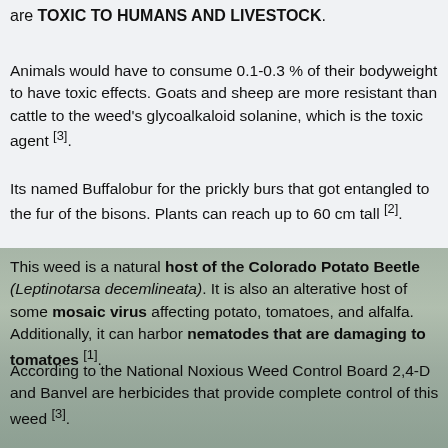are TOXIC TO HUMANS AND LIVESTOCK.
Animals would have to consume 0.1-0.3 % of their bodyweight to have toxic effects. Goats and sheep are more resistant than cattle to the weed's glycoalkaloid solanine, which is the toxic agent [3].
Its named Buffalobur for the prickly burs that got entangled to the fur of the bisons. Plants can reach up to 60 cm tall [2].
This weed is a natural host of the Colorado Potato Beetle (Leptinotarsa decemlineata). It is also an alterative host of some mosaic virus affecting potato, tomatoes, and alfalfa. Additionally, it can harbor nematodes that are damaging to tomatoes [1].
According to the National Noxious Weed Control Board 2,4-D and Banvel are herbicides that provide complete control of this weed [3].